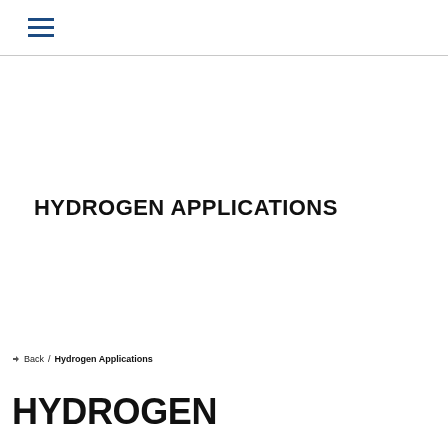☰
HYDROGEN APPLICATIONS
Back / Hydrogen Applications
HYDROGEN